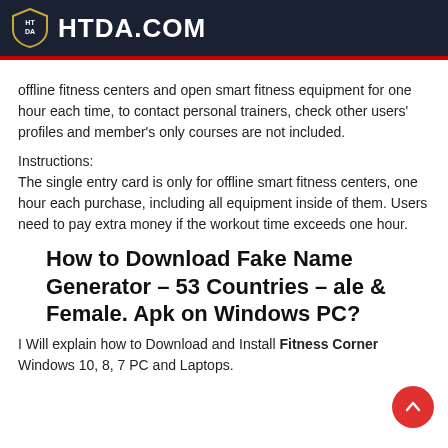HTDA.COM
offline fitness centers and open smart fitness equipment for one hour each time, to contact personal trainers, check other users' profiles and member's only courses are not included.
Instructions:
The single entry card is only for offline smart fitness centers, one hour each purchase, including all equipment inside of them. Users need to pay extra money if the workout time exceeds one hour.
How to Download Fake Name Generator – 53 Countries – ale & Female. Apk on Windows PC?
I Will explain how to Download and Install Fitness Corner Windows 10, 8, 7 PC and Laptops.